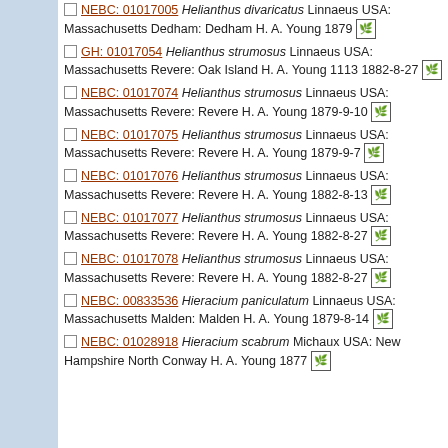NEBC: 01017005 Helianthus divaricatus Linnaeus USA: Massachusetts Dedham: Dedham H. A. Young 1879 [leaf icon]
GH: 01017054 Helianthus strumosus Linnaeus USA: Massachusetts Revere: Oak Island H. A. Young 1113 1882-8-27 [leaf icon]
NEBC: 01017074 Helianthus strumosus Linnaeus USA: Massachusetts Revere: Revere H. A. Young 1879-9-10 [leaf icon]
NEBC: 01017075 Helianthus strumosus Linnaeus USA: Massachusetts Revere: Revere H. A. Young 1879-9-7 [leaf icon]
NEBC: 01017076 Helianthus strumosus Linnaeus USA: Massachusetts Revere: Revere H. A. Young 1882-8-13 [leaf icon]
NEBC: 01017077 Helianthus strumosus Linnaeus USA: Massachusetts Revere: Revere H. A. Young 1882-8-27 [leaf icon]
NEBC: 01017078 Helianthus strumosus Linnaeus USA: Massachusetts Revere: Revere H. A. Young 1882-8-27 [leaf icon]
NEBC: 00833536 Hieracium paniculatum Linnaeus USA: Massachusetts Malden: Malden H. A. Young 1879-8-14 [leaf icon]
NEBC: 01028918 Hieracium scabrum Michaux USA: New Hampshire North Conway H. A. Young 1877 [leaf icon]